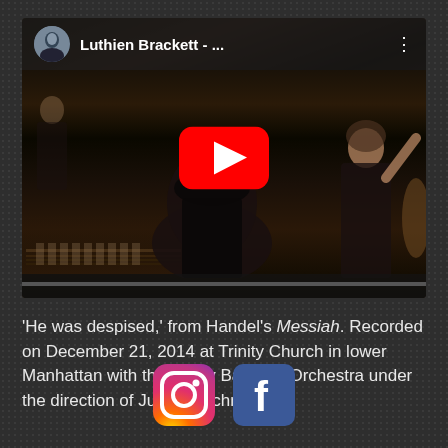[Figure (screenshot): YouTube video thumbnail showing a performance titled 'Luthien Brackett - ...' with a singer in a black dress performing with an orchestra, a YouTube play button overlay, and a video title bar at the top with a user avatar.]
'He was despised,' from Handel's Messiah. Recorded on December 21, 2014 at Trinity Church in lower Manhattan with the Trinity Baroque Orchestra under the direction of Julian Wachner.
[Figure (logo): Instagram and Facebook social media icons displayed side by side]